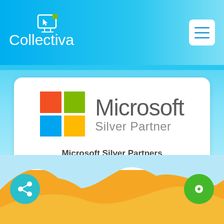[Figure (logo): Collectiva company logo — white text on blue gradient header bar, with a stylized monitor/cursor icon above the text]
[Figure (logo): Microsoft Silver Partner logo — four-color Microsoft flag squares (red, green, blue, yellow) beside 'Microsoft' in large grey text and 'Silver Partner' in smaller grey text]
Microsoft Silver Partners
[Figure (illustration): Orange/yellow wavy decorative wave pattern at the bottom of the page]
[Figure (infographic): Teal circular share button (network/share icon) in bottom-left corner]
[Figure (infographic): Green circular chat/support button (circle dot icon) in bottom-right corner]